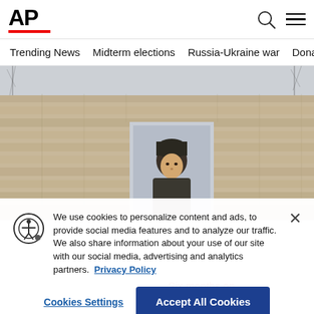AP
Trending News    Midterm elections    Russia-Ukraine war    Dona
[Figure (photo): Person in a dark knit cap seen through a rectangular opening in a ruined stone wall, with bare winter trees visible in the background against a grey sky.]
We use cookies to personalize content and ads, to provide social media features and to analyze our traffic. We also share information about your use of our site with our social media, advertising and analytics partners. Privacy Policy
Cookies Settings    Accept All Cookies
Six months on, Ukraine fights war, painful after...